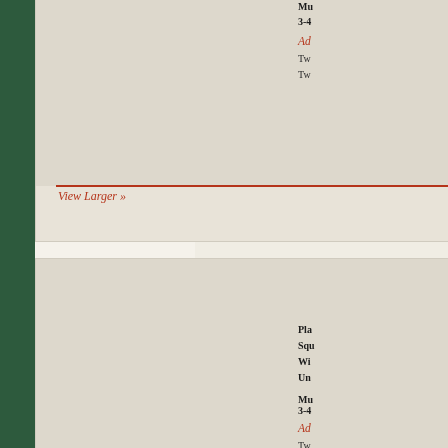View Larger »
Mu
3-4
Ad
Tw
Tw
Pla
Squ
Wi
Un
Mu
3-4
Ad
Tw
Ba
View Larger »
Pla
Squ
Wi
Un
Mu
3-4
Ad
View Larger »
Tw